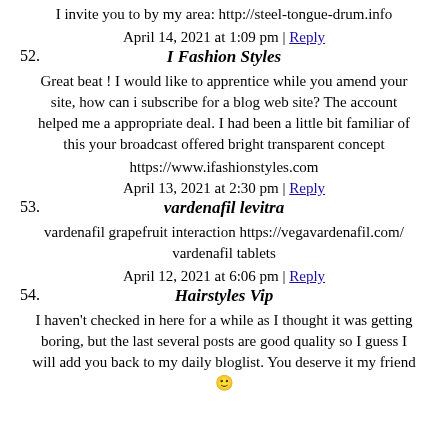I invite you to by my area: http://steel-tongue-drum.info
April 14, 2021 at 1:09 pm | Reply
52. I Fashion Styles
Great beat ! I would like to apprentice while you amend your site, how can i subscribe for a blog web site? The account helped me a appropriate deal. I had been a little bit familiar of this your broadcast offered bright transparent concept
https://www.ifashionstyles.com
April 13, 2021 at 2:30 pm | Reply
53. vardenafil levitra
vardenafil grapefruit interaction https://vegavardenafil.com/ vardenafil tablets
April 12, 2021 at 6:06 pm | Reply
54. Hairstyles Vip
I haven't checked in here for a while as I thought it was getting boring, but the last several posts are good quality so I guess I will add you back to my daily bloglist. You deserve it my friend 🙂